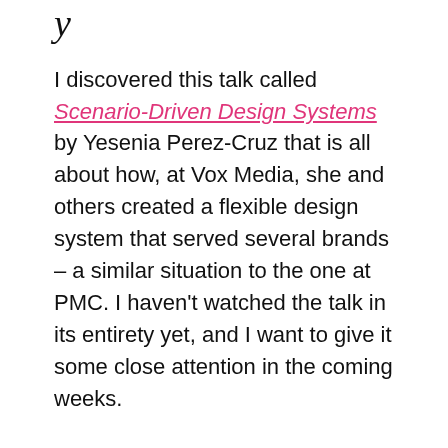y
I discovered this talk called Scenario-Driven Design Systems by Yesenia Perez-Cruz that is all about how, at Vox Media, she and others created a flexible design system that served several brands – a similar situation to the one at PMC. I haven't watched the talk in its entirety yet, and I want to give it some close attention in the coming weeks.
Slow down, brain!
My brain gets very far ahead of reality at times. I need to consciously slow down the idea generation and focus on doing the work, and not following into imaginings of outside that idea. The